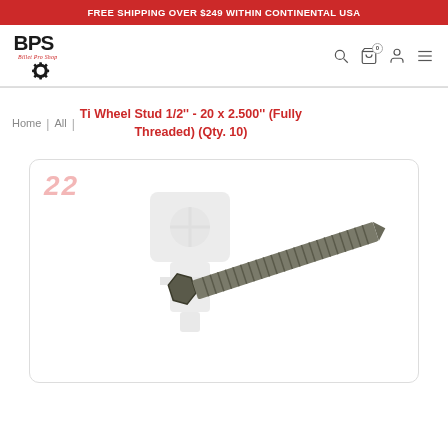FREE SHIPPING OVER $249 WITHIN CONTINENTAL USA
[Figure (logo): Billet Pro Shop (BPS) logo with gear icon and stylized text]
Home | All | Ti Wheel Stud 1/2'' - 20 x 2.500'' (Fully Threaded) (Qty. 10)
[Figure (photo): Product photo of a titanium wheel stud (fully threaded, 1/2''-20 x 2.500'') shown diagonally against a white background with a faint watermark engine/component illustration and the number 22 in red]